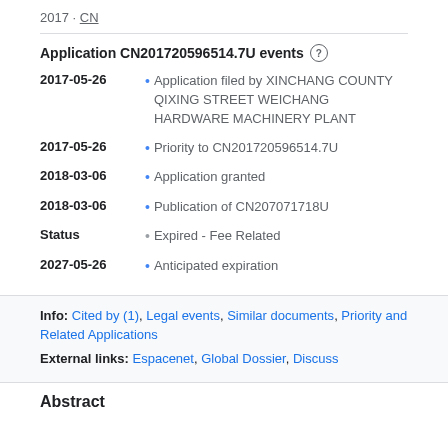2017 · CN
Application CN201720596514.7U events
2017-05-26 • Application filed by XINCHANG COUNTY QIXING STREET WEICHANG HARDWARE MACHINERY PLANT
2017-05-26 • Priority to CN201720596514.7U
2018-03-06 • Application granted
2018-03-06 • Publication of CN207071718U
Status • Expired - Fee Related
2027-05-26 • Anticipated expiration
Info: Cited by (1), Legal events, Similar documents, Priority and Related Applications
External links: Espacenet, Global Dossier, Discuss
Abstract